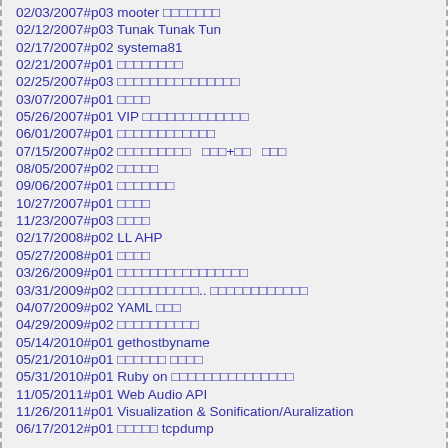02/03/2007#p03 mooter □□□□□□□
02/12/2007#p03 Tunak Tunak Tun
02/17/2007#p02 systema81
02/21/2007#p01 □□□□□□□□
02/25/2007#p03 □□□□□□□□□□□□□□□
03/07/2007#p01 □□□□
05/26/2007#p01 VIP □□□□□□□□□□□□□
06/01/2007#p01 □□□□□□□□□□□□
07/15/2007#p02 □□□□□□□□□   □□□+□□   □□□
08/05/2007#p02 □□□□□
09/06/2007#p01 □□□□□□□
10/27/2007#p01 □□□□
11/23/2007#p03 □□□□
02/17/2008#p02 LL AHP
05/27/2008#p01 □□□□
03/26/2009#p01 □□□□□□□□□□□□□□□□
03/31/2009#p02 □□□□□□□□□□.. □□□□□□□□□□□□
04/07/2009#p02 YAML □□□
04/29/2009#p02 □□□□□□□□□□
05/14/2010#p01 gethostbyname
05/21/2010#p01 □□□□□□ □□□□
05/31/2010#p01 Ruby on □□□□□□□□□□□□□□□
11/05/2011#p01 Web Audio API
11/26/2011#p01 Visualization & Sonification/Auralization
06/17/2012#p01 □□□□□ tcpdump